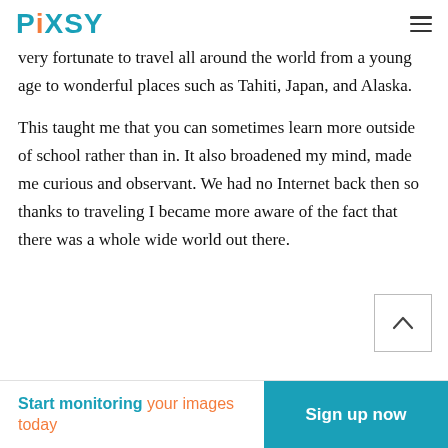PIXSY
very fortunate to travel all around the world from a young age to wonderful places such as Tahiti, Japan, and Alaska.
This taught me that you can sometimes learn more outside of school rather than in. It also broadened my mind, made me curious and observant. We had no Internet back then so thanks to traveling I became more aware of the fact that there was a whole wide world out there.
Start monitoring your images today  Sign up now